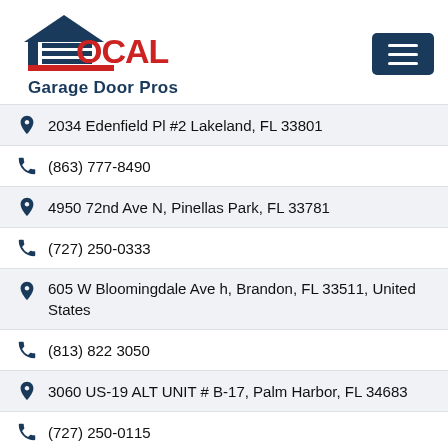[Figure (logo): Local Garage Door Pros logo with house/door icon in navy and red, text LOCAL in red with navy horizontal lines, Garage Door Pros in navy below]
2034 Edenfield Pl #2 Lakeland, FL 33801
(863) 777-8490
4950 72nd Ave N, Pinellas Park, FL 33781
(727) 250-0333
605 W Bloomingdale Ave h, Brandon, FL 33511, United States
(813) 822 3050
3060 US-19 ALT UNIT # B-17, Palm Harbor, FL 34683
(727) 250-0115